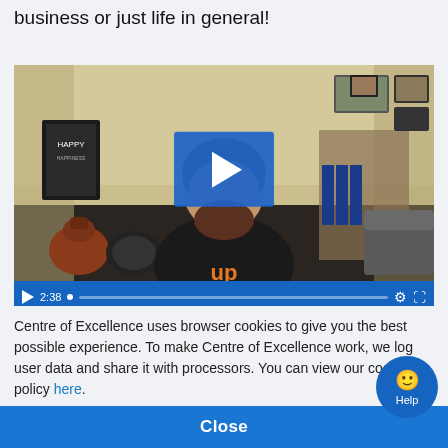business or just life in general!
[Figure (screenshot): Video player showing a man in a black shirt with an orange 'UP' logo sitting in a room with kettlebells and bookshelves. A blue play button overlay is centered on the video. The video controls show a duration of 2:38.]
Centre of Excellence uses browser cookies to give you the best possible experience. To make Centre of Excellence work, we log user data and share it with processors. You can view our cookie policy here.
Close